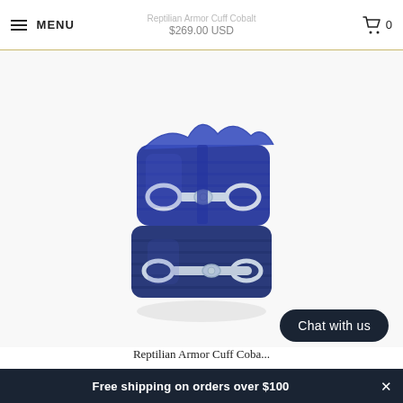Reptilian Armor Cuff Cobalt | $269.00 USD | MENU | Cart 0
[Figure (photo): Blue cobalt reptilian leather cuff bracelet with two silver equestrian bit hardware accents, stacked together, on white background]
Reptilian Armor Cuff Coba...
Chat with us
Free shipping on orders over $100